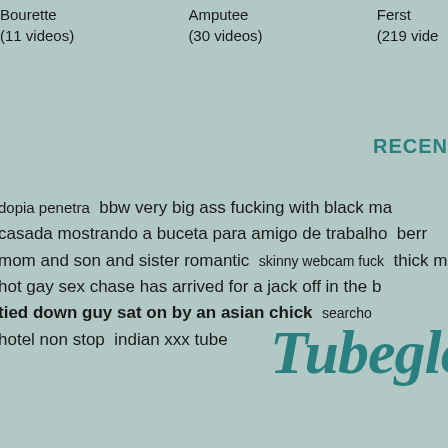Bourette (11 videos)   Amputee (30 videos)   Ferst (219 vide...
RECEN
dopia penetra  bbw very big ass fucking with black ma casada mostrando a buceta para amigo de trabalho  berr mom and son and sister romantic  skinny webcam fuck  thick me hot gay sex chase has arrived for a jack off in the b tied down guy sat on by an asian chick  seacho hotel non stop  indian xxx tube
Tubeglo